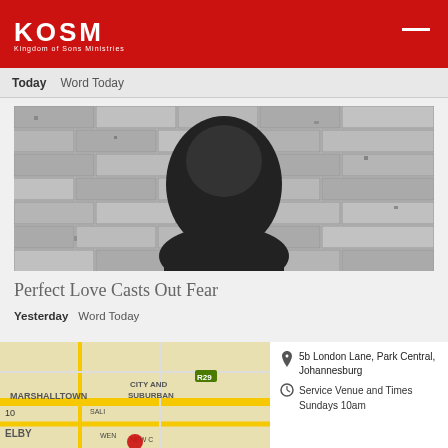KOSM
Today   Word Today
[Figure (photo): Black and white photo of a man smiling in front of a brick wall]
Perfect Love Casts Out Fear
Yesterday   Word Today
[Figure (map): Street map showing Marshalltown, City and Suburban area of Johannesburg]
5b London Lane, Park Central, Johannesburg
Service Venue and Times
Sundays 10am